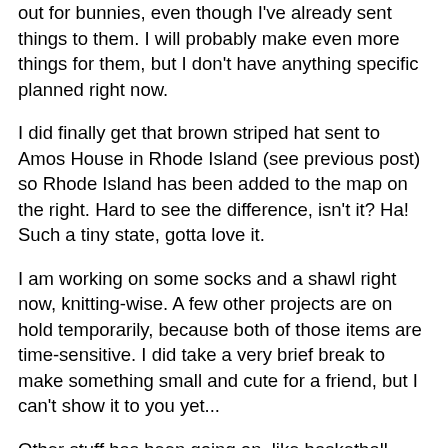out for bunnies, even though I've already sent things to them. I will probably make even more things for them, but I don't have anything specific planned right now.
I did finally get that brown striped hat sent to Amos House in Rhode Island (see previous post) so Rhode Island has been added to the map on the right. Hard to see the difference, isn't it? Ha! Such a tiny state, gotta love it.
I am working on some socks and a shawl right now, knitting-wise. A few other projects are on hold temporarily, because both of those items are time-sensitive. I did take a very brief break to make something small and cute for a friend, but I can't show it to you yet...
Other stuff has been going on, like basketball games (our team qualified for the Euroleague quarterfinals, yay!) and a wee bit of genealogy, and I have fallen victim to the wiles of Pinterest. Warning! If you're not already on Pinterest and you click on that link, be prepared to be sucked in to the vast expanse of Internet time-wasting! It's addictive. And a lot of fun. And makes a good way to save links to interesting